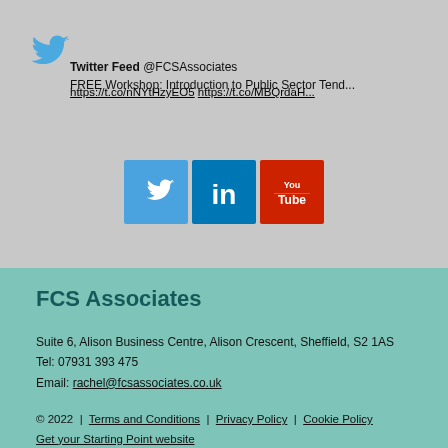[Figure (logo): Twitter bird logo in blue]
Twitter Feed @FCSAssociates
FREE Workshop: Introduction to Public Sector Tend...
https://t.co/nNYtHzyEO5 https://t.co/MBQrdaH...
[Figure (infographic): Social media icons: Twitter, LinkedIn, YouTube]
FCS Associates
Suite 6, Alison Business Centre, Alison Crescent, Sheffield, S2 1AS
Tel: 07931 393 475
Email: rachel@fcsassociates.co.uk
© 2022 | Terms and Conditions | Privacy Policy | Cookie Policy
Get your Starting Point website